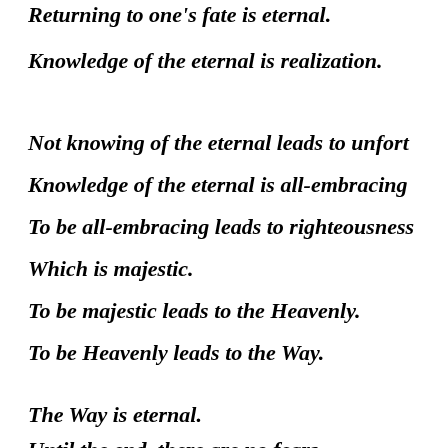Returning to one's fate is eternal.
Knowledge of the eternal is realization.
Not knowing of the eternal leads to unfort…
Knowledge of the eternal is all-embracing…
To be all-embracing leads to righteousness…
Which is majestic.
To be majestic leads to the Heavenly.
To be Heavenly leads to the Way.
The Way is eternal.
Until the end, there are no fears…